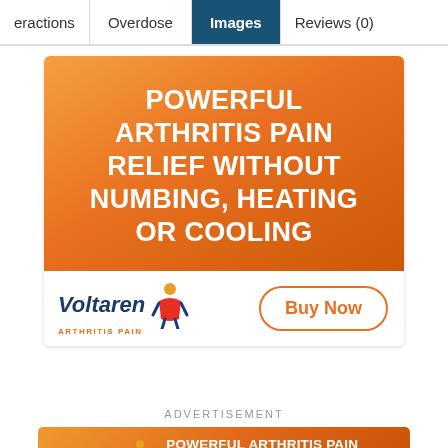eractions | Overdose | Images | Reviews (0)
[Figure (illustration): Voltaren Arthritis Pain advertisement banner with orange gradient background. Large white bold text reads 'POWERFUL ARTHRITIS PAIN RELIEF WITHOUT NUMBING, HEATING OR COOLING'. Bottom section has white background with Voltaren Arthritis Pain logo on left and 'Buy Now' button on right.]
ADVERTISEMENT
[Figure (illustration): Voltaren Arthritis Pain horizontal banner advertisement with orange gradient background. Voltaren Arthritis Pain logo on left, text reads 'POWERFUL ARTHRITIS PAIN RELIEF WITHOUT NUMBING, HEATING OR COOLING' on right.]